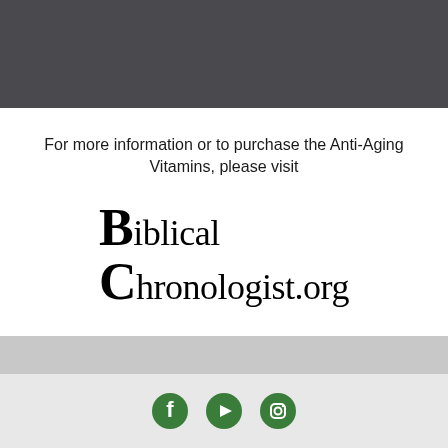For more information or to purchase the Anti-Aging Vitamins, please visit
[Figure (logo): Biblical Chronologist.org logo with large decorative B and C letters]
[Figure (infographic): Social media icons: Facebook, YouTube, Instagram in green circles]
Copyright © 2022 Aardsma Research and Publishing